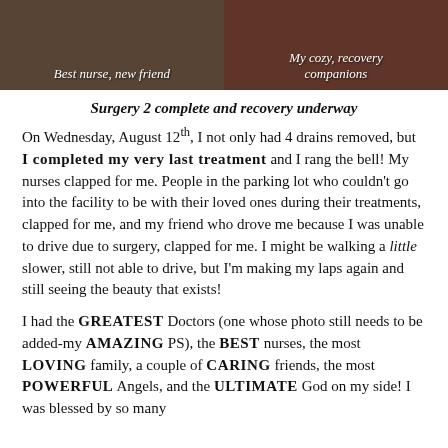[Figure (photo): Photo with caption 'Best nurse, new friend']
Best nurse, new friend
[Figure (photo): Photo with caption 'My cozy, recovery companions']
My cozy, recovery companions
Surgery 2 complete and recovery underway
On Wednesday, August 12th, I not only had 4 drains removed, but I completed my very last treatment and I rang the bell! My nurses clapped for me. People in the parking lot who couldn't go into the facility to be with their loved ones during their treatments, clapped for me, and my friend who drove me because I was unable to drive due to surgery, clapped for me. I might be walking a little slower, still not able to drive, but I'm making my laps again and still seeing the beauty that exists!
I had the GREATEST Doctors (one whose photo still needs to be added-my AMAZING PS), the BEST nurses, the most LOVING family, a couple of CARING friends, the most POWERFUL Angels, and the ULTIMATE God on my side! I was blessed by so many